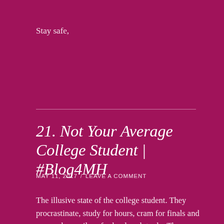Stay safe,
21. Not Your Average College Student | #Blog4MH
MAY 11, 2017  /  LEAVE A COMMENT
The illusive state of the college student. They procrastinate, study for hours, cram for finals and exams, have piles of schoolwork to do. They juggle work hours, volunteering, internships, schoolwork–